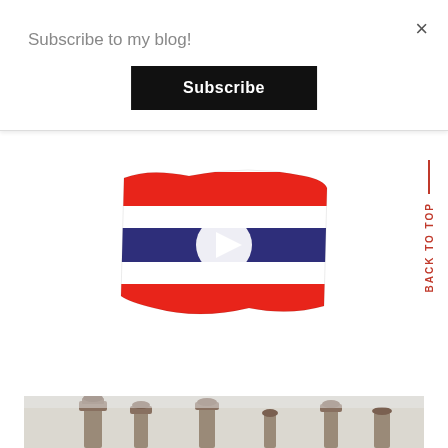Subscribe to my blog!
×
Subscribe
[Figure (illustration): Thai flag emoji with a white play button triangle overlay in the center, shown as a video thumbnail. The flag has red, white, and dark navy blue horizontal stripes.]
BACK TO TOP
[Figure (photo): Partial photo showing stone monument or ancient statues/pillars with light gray sky background, visible at the bottom of the page.]